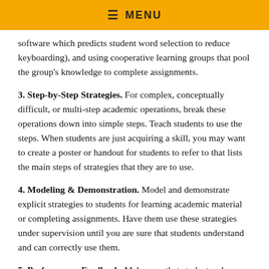≡ MENU
software which predicts student word selection to reduce keyboarding), and using cooperative learning groups that pool the group's knowledge to complete assignments.
3. Step-by-Step Strategies. For complex, conceptually difficult, or multi-step academic operations, break these operations down into simple steps. Teach students to use the steps. When students are just acquiring a skill, you may want to create a poster or handout for students to refer to that lists the main steps of strategies that they are to use.
4. Modeling & Demonstration. Model and demonstrate explicit strategies to students for learning academic material or completing assignments. Have them use these strategies under supervision until you are sure that students understand and can correctly use them.
5. Performance Feedback. Make sure that students who are mastering new academic skills have frequent opportunities to try these skills out with immediate corrective feedback and encouragement. Prompt guidance and feedback will prevent students from accidentally 'learning' how to perform a skill